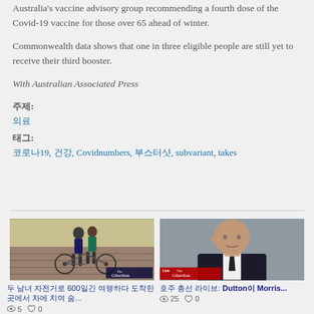Australia's vaccine advisory group recommending a fourth dose of the Covid-19 vaccine for those over 65 ahead of winter.
Commonwealth data shows that one in three eligible people are still yet to receive their third booster.
With Australian Associated Press
주제:
의료
태그:
코로나19, 건강, Covidnumbers, 부스터샷, subvariant, takes
[Figure (photo): Two people standing with bicycles in front of a brick wall, The Guardian logo overlay]
두 남녀 자전거로 600일간 여행하다 도착한 곳에서 차에 치여 숨...
[Figure (photo): Bald man in suit, Live The Guardian logo overlay in red]
호주 총선 라이브: Dutton이 Morris...